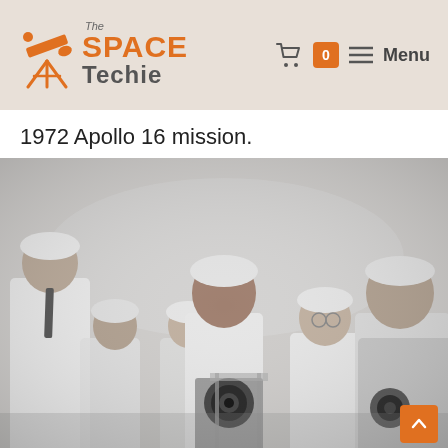The Space Techie — Menu (0 cart items)
1972 Apollo 16 mission.
[Figure (photo): Black and white photograph showing several people wearing white lab coats and white caps in what appears to be a clean room. They are gathered around a piece of equipment/camera. The scene is from the 1972 Apollo 16 mission.]